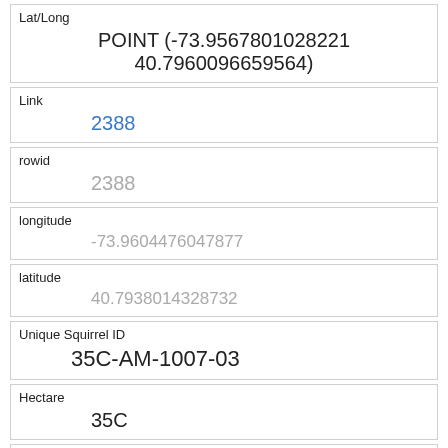| Lat/Long |
| --- |
| POINT (-73.9567801028221 40.7960096659564) |
| Link |
| --- |
| 2388 |
| rowid |
| --- |
| 2388 |
| longitude |
| --- |
| -73.9604476047877 |
| latitude |
| --- |
| 40.7938014328732 |
| Unique Squirrel ID |
| --- |
| 35C-AM-1007-03 |
| Hectare |
| --- |
| 35C |
| Shift |
| --- |
| AM |
| Date |
| --- |
| 10072018 |
| Hectare Squirrel Number |
| --- |
| 3 |